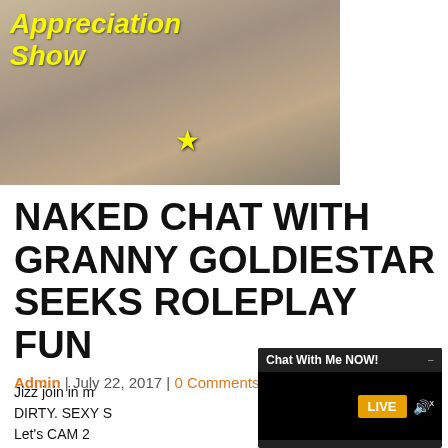[Figure (photo): Thumbnail image with yellow italic text overlay reading 'Appreciation Show' and a yellow star graphic]
NAKED CHAT WITH GRANNY GOLDIESTAR SEEKS ROLEPLAY FUN
Admin | July 22, 2017 | 0 Comments
Jizz join in m... DIRTY. SEXY S... Let's CAM 2 W... to have HALI...
[Figure (screenshot): Chat widget with header 'Chat With Me NOW!', minimize button, black body area, yellow LIVE button, and volume icon with x]